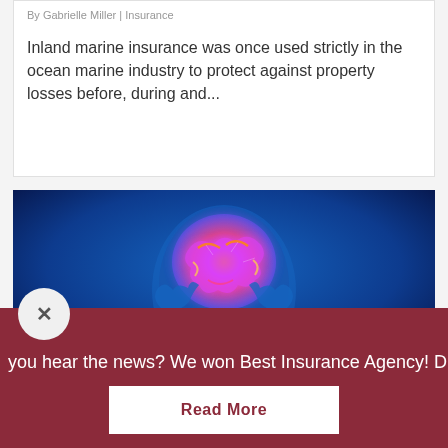By Gabrielle Miller | Insurance
Inland marine insurance was once used strictly in the ocean marine industry to protect against property losses before, during and...
[Figure (illustration): Medical illustration of a human figure holding head in hands with a glowing, colorful brain visible through the skull on a dark blue background]
you hear the news? We won Best Insurance Agency!  Did
Read More